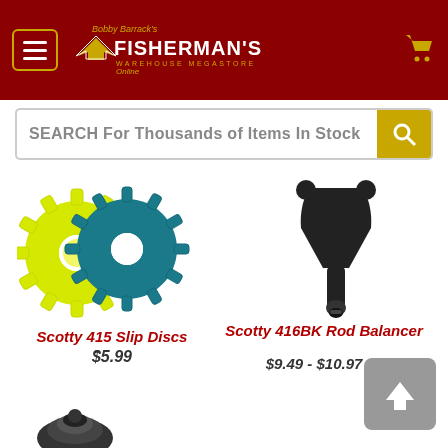[Figure (logo): Bobby Barrack's Fisherman's Warehouse Megastore Online logo on dark red header with menu button and cart icon]
SEARCH For Thousands of Items In Stock
[Figure (photo): Scotty 415 Slip Discs - yellow and teal gear-shaped discs]
Scotty 415 Slip Discs
$5.99
[Figure (photo): Scotty 416BK Rod Balancer - black Y-shaped plastic rod balancer]
Scotty 416BK Rod Balancer
$9.49 - $10.97
[Figure (photo): Partial view of a third product at bottom left]